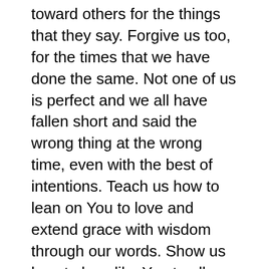toward others for the things that they say. Forgive us too, for the times that we have done the same. Not one of us is perfect and we all have fallen short and said the wrong thing at the wrong time, even with the best of intentions. Teach us how to lean on You to love and extend grace with wisdom through our words. Show us how to love like You to all those around us. May many come into a lasting relationship with You. Be glorified O God, as we seek You to speak with wisdom and grace, ever extending kindness and grace to all those around us. Amen.